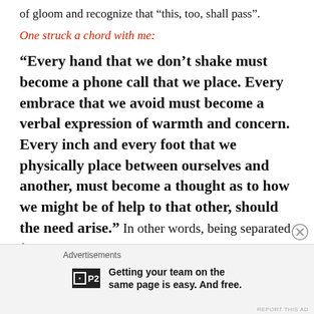of gloom and recognize that “this, too, shall pass”.
One struck a chord with me:
“Every hand that we don’t shake must become a phone call that we place. Every embrace that we avoid must become a verbal expression of warmth and concern. Every inch and every foot that we physically place between ourselves and another, must become a thought as to how we might be of help to that other, should the need arise.” In other words, being separated from one another doesn’t have to mean being cut off from one another. A
Advertisements
Getting your team on the same page is easy. And free.